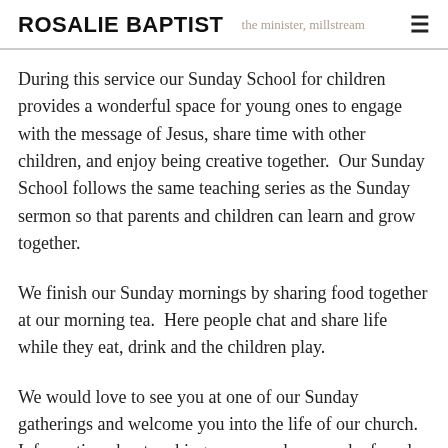ROSALIE BAPTIST
During this service our Sunday School for children provides a wonderful space for young ones to engage with the message of Jesus, share time with other children, and enjoy being creative together.  Our Sunday School follows the same teaching series as the Sunday sermon so that parents and children can learn and grow together.
We finish our Sunday mornings by sharing food together at our morning tea.  Here people chat and share life while they eat, drink and the children play.
We would love to see you at one of our Sunday gatherings and welcome you into the life of our church.  Information about making your way here can be found on our "I'm New" page.